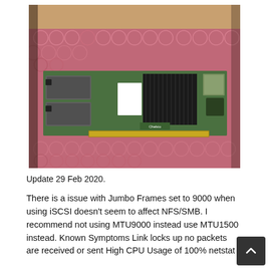[Figure (photo): A Chelsio network/HBA PCIe card placed on pink anti-static bubble wrap inside a cardboard box. The card is green with a large black heat sink, two SFP+ ports on the left, and a gold PCIe edge connector at the bottom.]
Update 29 Feb 2020.
There is a issue with Jumbo Frames set to 9000 when using iSCSI doesn't seem to affect NFS/SMB. I recommend not using MTU9000 instead use MTU1500 instead. Known Symptoms Link locks up no packets are received or sent High CPU Usage of 100% netstat -